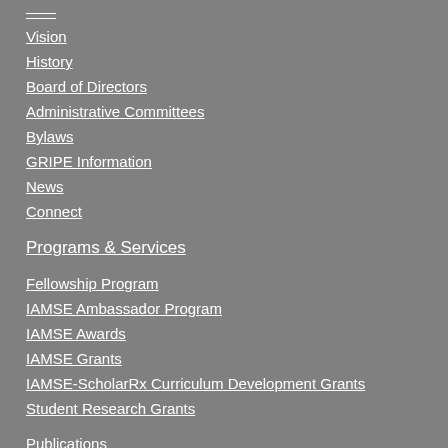Vision
History
Board of Directors
Administrative Committees
Bylaws
GRIPE Information
News
Connect
Programs & Services
Fellowship Program
IAMSE Ambassador Program
IAMSE Awards
IAMSE Grants
IAMSE-ScholarRx Curriculum Development Grants
Student Research Grants
Publications